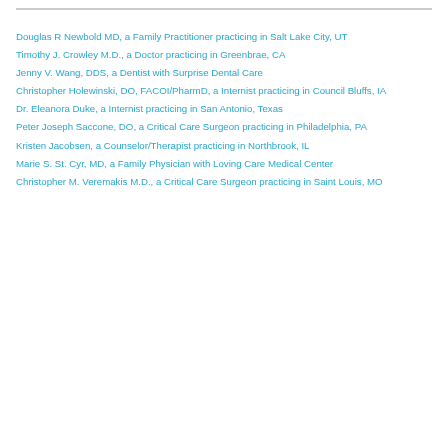Douglas R Newbold MD, a Family Practitioner practicing in Salt Lake City, UT
Timothy J. Crowley M.D., a Doctor practicing in Greenbrae, CA
Jenny V. Wang, DDS, a Dentist with Surprise Dental Care
Christopher Holewinski, DO, FACOI/PharmD, a Internist practicing in Council Bluffs, IA
Dr. Eleanora Duke, a Internist practicing in San Antonio, Texas
Peter Joseph Saccone, DO, a Critical Care Surgeon practicing in Philadelphia, PA
Kristen Jacobsen, a Counselor/Therapist practicing in Northbrook, IL
Marie S. St. Cyr, MD, a Family Physician with Loving Care Medical Center
Christopher M. Veremakis M.D., a Critical Care Surgeon practicing in Saint Louis, MO